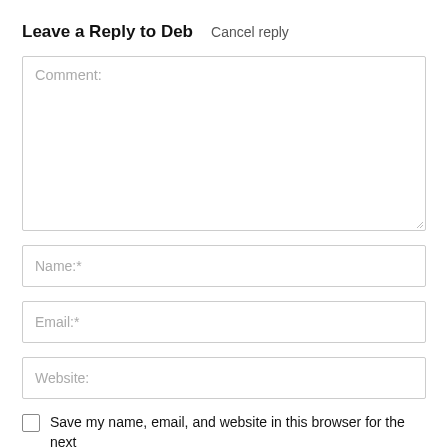Leave a Reply to Deb   Cancel reply
[Figure (screenshot): Comment textarea input box with placeholder text 'Comment:']
[Figure (screenshot): Name input field with placeholder text 'Name:*']
[Figure (screenshot): Email input field with placeholder text 'Email:*']
[Figure (screenshot): Website input field with placeholder text 'Website:']
Save my name, email, and website in this browser for the next